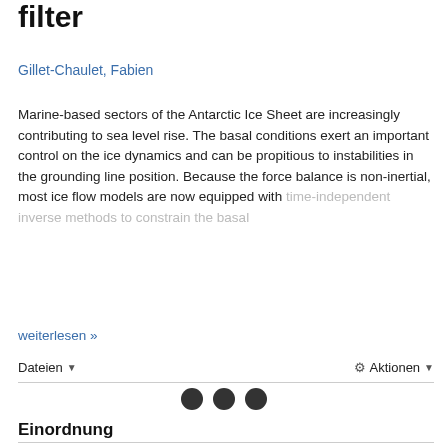filter
Gillet-Chaulet, Fabien
Marine-based sectors of the Antarctic Ice Sheet are increasingly contributing to sea level rise. The basal conditions exert an important control on the ice dynamics and can be propitious to instabilities in the grounding line position. Because the force balance is non-inertial, most ice flow models are now equipped with time-independent inverse methods to constrain the basal
weiterlesen »
Dateien   Aktionen
Einordnung
Erschienen in: The Cryosphere˜Theœ Cryosphere Bd. 14, H. 3 (03.2020), S. 811-832
Band: 14